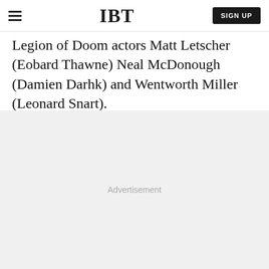IBT | SIGN UP
Legion of Doom actors Matt Letscher (Eobard Thawne) Neal McDonough (Damien Darhk) and Wentworth Miller (Leonard Snart).
Advertisement